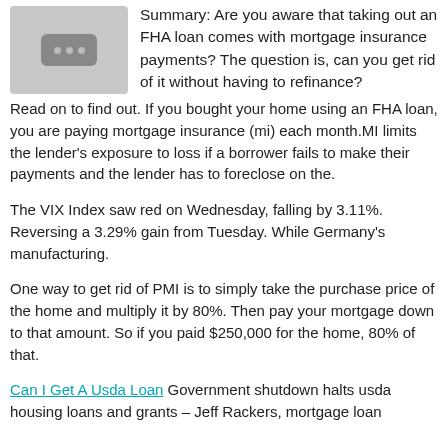[Figure (other): Thumbnail placeholder image with three dots icon on gray background]
Summary: Are you aware that taking out an FHA loan comes with mortgage insurance payments? The question is, can you get rid of it without having to refinance?
Read on to find out. If you bought your home using an FHA loan, you are paying mortgage insurance (mi) each month.MI limits the lender's exposure to loss if a borrower fails to make their payments and the lender has to foreclose on the.
The VIX Index saw red on Wednesday, falling by 3.11%. Reversing a 3.29% gain from Tuesday. While Germany's manufacturing.
One way to get rid of PMI is to simply take the purchase price of the home and multiply it by 80%. Then pay your mortgage down to that amount. So if you paid $250,000 for the home, 80% of that.
Can I Get A Usda Loan Government shutdown halts usda housing loans and grants – Jeff Rackers, mortgage loan